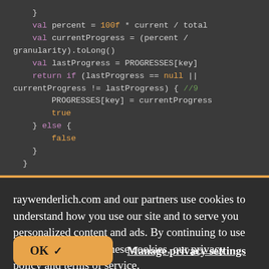[Figure (screenshot): Code editor screenshot showing Kotlin/Scala code with syntax highlighting on dark background. Code shows: } val percent = 100f * current / total val currentProgress = (percent / granularity).toLong() val lastProgress = PROGRESSES[key] return if (lastProgress == null || currentProgress != lastProgress) { //9 PROGRESSES[key] = currentProgress true } else { false } }]
raywenderlich.com and our partners use cookies to understand how you use our site and to serve you personalized content and ads. By continuing to use this site, you accept these cookies, our privacy policy and terms of service.
OK ✓   Manage privacy settings